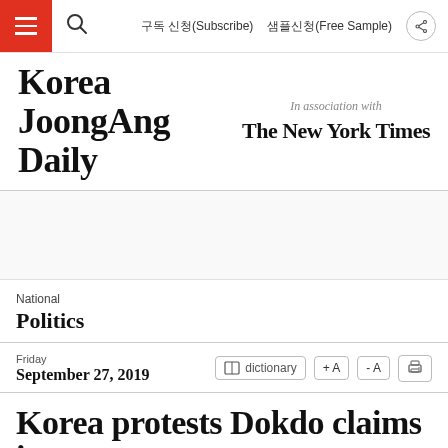구독 신청(Subscribe)   샘플신청(Free Sample)
[Figure (logo): Korea JoongAng Daily logo with 'In association with The New York Times']
National
Politics
Friday
September 27, 2019
Korea protests Dokdo claims in